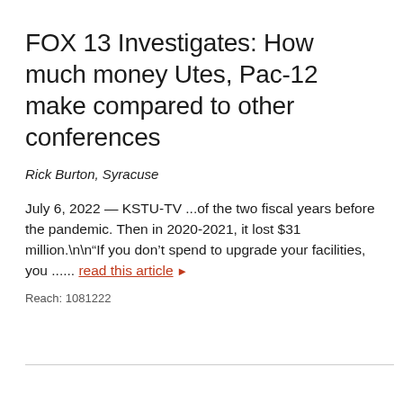FOX 13 Investigates: How much money Utes, Pac-12 make compared to other conferences
Rick Burton, Syracuse
July 6, 2022 — KSTU-TV ...of the two fiscal years before the pandemic. Then in 2020-2021, it lost $31 million.\n\n“If you don’t spend to upgrade your facilities, you ...... read this article ▶
Reach: 1081222